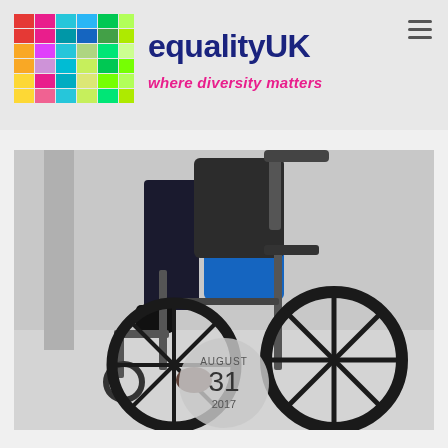[Figure (logo): equalityUK colorful tile logo grid with rainbow-colored square tiles arranged in columns]
equalityUK
where diversity matters
[Figure (photo): Close-up photo of a person in a blue shirt sitting in a wheelchair, hand gripping the wheel, lower body visible, light grey background]
AUGUST 31 2017